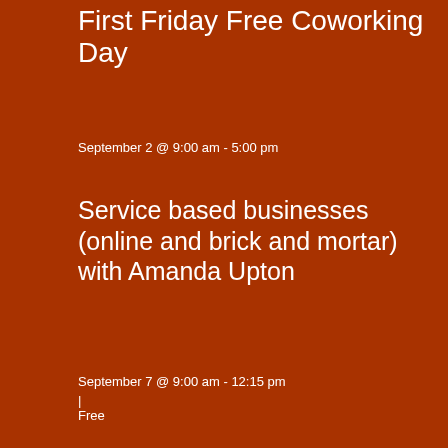First Friday Free Coworking Day
September 2 @ 9:00 am - 5:00 pm
Service based businesses (online and brick and mortar) with Amanda Upton
September 7 @ 9:00 am - 12:15 pm
|
Free
Nonprofit and Startup Management with Ilene Winters
September 7 @ 9:00 am - 11:00 am